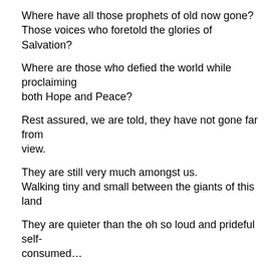Where have all those prophets of old now gone?
Those voices who foretold the glories of Salvation?
Where are those who defied the world while proclaiming both Hope and Peace?
Rest assured, we are told, they have not gone far from view.
They are still very much amongst us.
Walking tiny and small between the giants of this land
They are quieter than the oh so loud and prideful self-consumed…
They are the ones who stop, lingering long enough to listen…those who
will hear the baby's cry while standing ever so still...